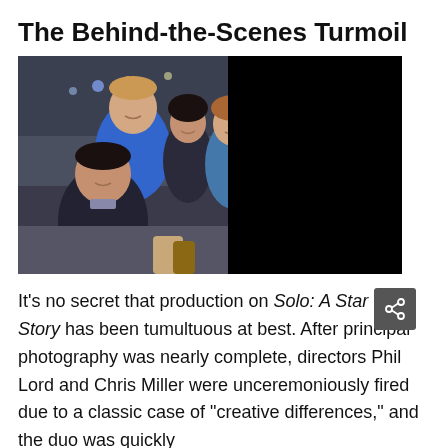The Behind-the-Scenes Turmoil
[Figure (photo): Behind-the-scenes photo from Solo: A Star Wars Story showing several cast/crew members on set inside what appears to be the Millennium Falcon cockpit set. Right portion of image is obscured by a black rectangle.]
It's no secret that production on Solo: A Star Wars Story has been tumultuous at best. After principal photography was nearly complete, directors Phil Lord and Chris Miller were unceremoniously fired due to a classic case of "creative differences," and the duo was quickly